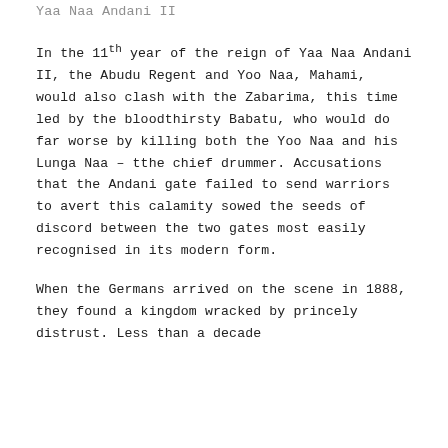Yaa Naa Andani II
In the 11th year of the reign of Yaa Naa Andani II, the Abudu Regent and Yoo Naa, Mahami, would also clash with the Zabarima, this time led by the bloodthirsty Babatu, who would do far worse by killing both the Yoo Naa and his Lunga Naa – tthe chief drummer. Accusations that the Andani gate failed to send warriors to avert this calamity sowed the seeds of discord between the two gates most easily recognised in its modern form.
When the Germans arrived on the scene in 1888, they found a kingdom wracked by princely distrust. Less than a decade